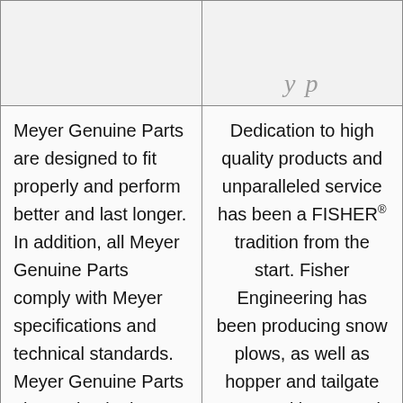Meyer Genuine Parts are designed to fit properly and perform better and last longer. In addition, all Meyer Genuine Parts comply with Meyer specifications and technical standards. Meyer Genuine Parts also maintain the warranty on your
Dedication to high quality products and unparalleled service has been a FISHER® tradition from the start. Fisher Engineering has been producing snow plows, as well as hopper and tailgate mounted ice control spreaders, for more than 70